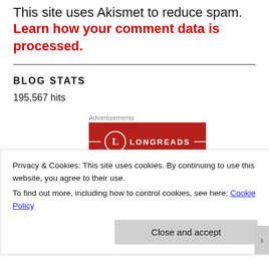This site uses Akismet to reduce spam. Learn how your comment data is processed.
BLOG STATS
195,567 hits
Advertisements
[Figure (logo): Longreads logo on a dark red background with decorative horizontal lines flanking a circle with 'L' and the text LONGREADS]
Privacy & Cookies: This site uses cookies. By continuing to use this website, you agree to their use.
To find out more, including how to control cookies, see here: Cookie Policy
Close and accept